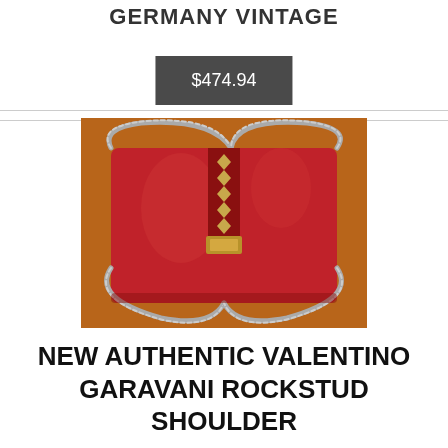GERMANY VINTAGE
$474.94
[Figure (photo): Red Valentino Garavani Rockstud shoulder bag with gold chain strap and studded front closure panel, photographed on a decorative surface.]
NEW AUTHENTIC VALENTINO GARAVANI ROCKSTUD SHOULDER